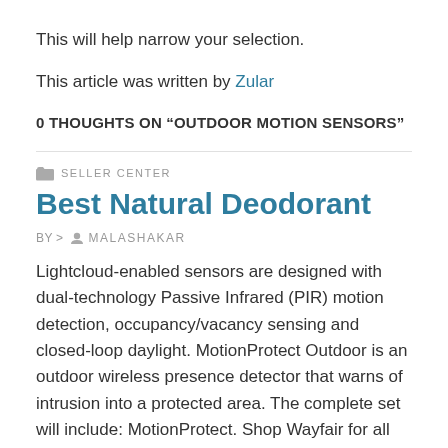This will help narrow your selection.
This article was written by Zular
0 THOUGHTS ON “OUTDOOR MOTION SENSORS”
SELLER CENTER
Best Natural Deodorant
BY > MALASHAKAR
Lightcloud-enabled sensors are designed with dual-technology Passive Infrared (PIR) motion detection, occupancy/vacancy sensing and closed-loop daylight. MotionProtect Outdoor is an outdoor wireless presence detector that warns of intrusion into a protected area. The complete set will include: MotionProtect. Shop Wayfair for all the best Motion Sensor Outdoor Lights.